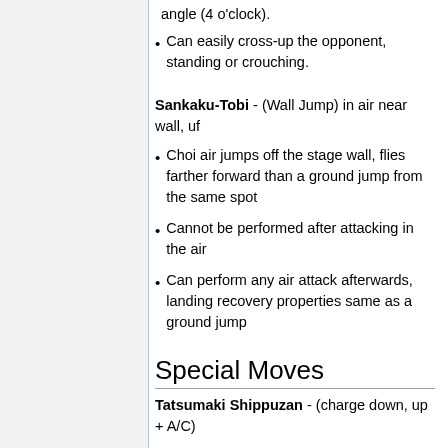angle (4 o'clock).
Can easily cross-up the opponent, standing or crouching.
Sankaku-Tobi - (Wall Jump) in air near wall, uf
Choi air jumps off the stage wall, flies farther forward than a ground jump from the same spot
Cannot be performed after attacking in the air
Can perform any air attack afterwards, landing recovery properties same as a ground jump
Special Moves
Tatsumaki Shippuzan - (charge down, up + A/C)